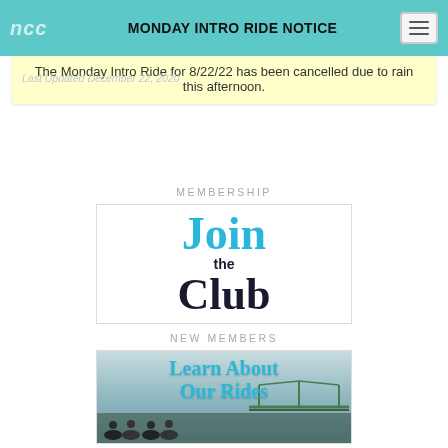MONDAY INTRO RIDE NOTICE
The Monday Intro Ride for 8/22/22 has been cancelled due to rain this afternoon.
Last Updated December 22, 2020
MEMBERSHIP
[Figure (illustration): Join the Club promotional image with large cyan 'Join' text and dark navy 'the Club' text on white background]
NEW MEMBERS
[Figure (illustration): Learn About Our Rides promotional image with cyan text over a photo of cyclists riding near a green bridge over a river]